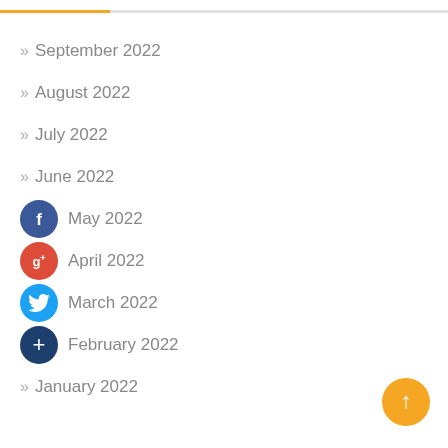September 2022
August 2022
July 2022
June 2022
May 2022
April 2022
March 2022
February 2022
January 2022
[Figure (illustration): Scroll-to-top button, golden circle with upward arrow]